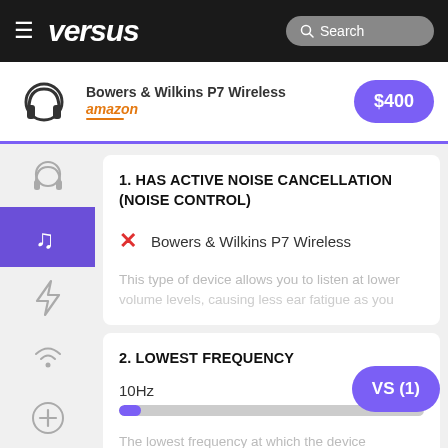versus — Search
[Figure (screenshot): Amazon ad for Bowers & Wilkins P7 Wireless headphones priced at $400]
1. HAS ACTIVE NOISE CANCELLATION (NOISE CONTROL)
✗ Bowers & Wilkins P7 Wireless
This type of device allows you to listen at lower volume levels, causing less ear fatigue as you
2. LOWEST FREQUENCY
10Hz
The lowest frequency at which the device produces audio. The lower the low-freque